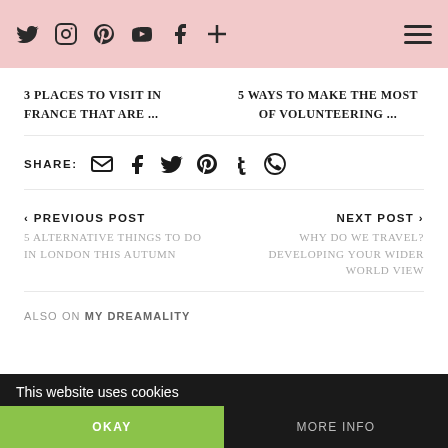Social icons: Twitter, Instagram, Pinterest, YouTube, Facebook, Plus | Hamburger menu
3 PLACES TO VISIT IN FRANCE THAT ARE ...
5 WAYS TO MAKE THE MOST OF VOLUNTEERING ...
SHARE: [email] [facebook] [twitter] [pinterest] [tumblr] [whatsapp]
< PREVIOUS POST
5 ALTERNATIVE THINGS TO DO IN LONDON THIS AUTUMN
NEXT POST >
WHY DO WE TRAVEL? DEVELOPING YOUR WIDER WORLD VIEW
ALSO ON MY DREAMALITY
This website uses cookies
OKAY | MORE INFO